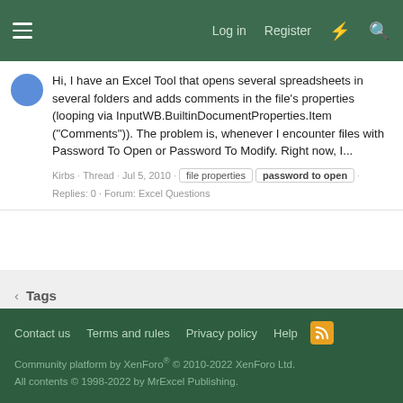Log in  Register
Hi, I have an Excel Tool that opens several spreadsheets in several folders and adds comments in the file's properties (looping via InputWB.BuiltinDocumentProperties.Item ("Comments")). The problem is, whenever I encounter files with Password To Open or Password To Modify. Right now, I...
Kirbs · Thread · Jul 5, 2010 · file properties · password to open · Replies: 0 · Forum: Excel Questions
Tags
Contact us  Terms and rules  Privacy policy  Help
Community platform by XenForo® © 2010-2022 XenForo Ltd.
All contents © 1998-2022 by MrExcel Publishing.